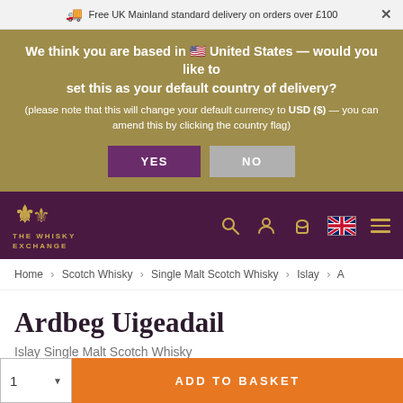Free UK Mainland standard delivery on orders over £100
We think you are based in 🇺🇸 United States — would you like to set this as your default country of delivery? (please note that this will change your default currency to USD ($) — you can amend this by clicking the country flag)
[Figure (screenshot): YES and NO buttons for country/currency selection]
[Figure (logo): The Whisky Exchange logo with crest on dark purple navigation bar with search, account, basket, UK flag, and menu icons]
Home › Scotch Whisky › Single Malt Scotch Whisky › Islay › A
Ardbeg Uigeadail
Islay Single Malt Scotch Whisky
ADD TO BASKET